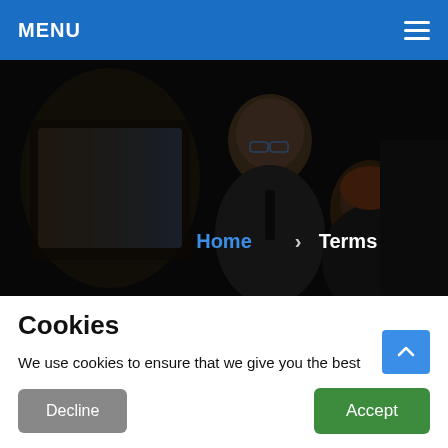MENU
[Figure (photo): Dark photo of two people (a man with glasses in a suit and a woman) looking at a computer screen in a dimly lit environment. Breadcrumb navigation overlay reads 'Home > Terms'.]
Cookies
We use cookies to ensure that we give you the best experience on our website. If you continue to use this site we will assume that you are happy with it. Cookie Policy
Decline
Accept